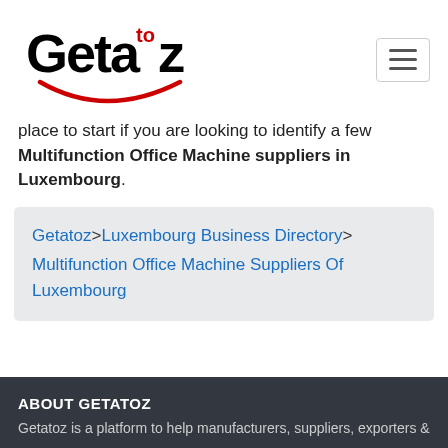[Figure (logo): Getatoz logo with stylized text 'Geta to z' with red 'to' superscript and a red smile arc below]
place to start if you are looking to identify a few Multifunction Office Machine suppliers in Luxembourg.
Getatoz>Luxembourg Business Directory>Multifunction Office Machine Suppliers Of Luxembourg
ABOUT GETATOZ
Getatoz is a platform to help manufacturers, suppliers, exporters &